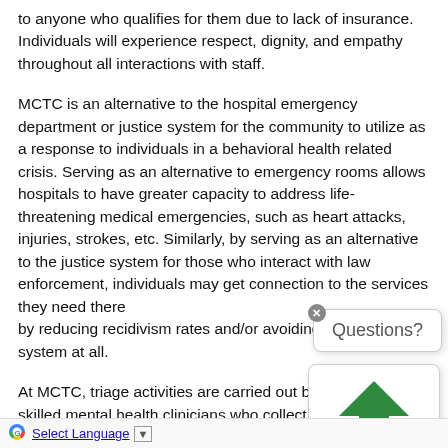to anyone who qualifies for them due to lack of insurance. Individuals will experience respect, dignity, and empathy throughout all interactions with staff.
MCTC is an alternative to the hospital emergency department or justice system for the community to utilize as a response to individuals in a behavioral health related crisis. Serving as an alternative to emergency rooms allows hospitals to have greater capacity to address life-threatening medical emergencies, such as heart attacks, injuries, strokes, etc. Similarly, by serving as an alternative to the justice system for those who interact with law enforcement, individuals may get connection to the services they need thereby reducing recidivism rates and/or avoiding entry into the system at all.
At MCTC, triage activities are carried out by qualified and skilled mental health clinicians who collect demographic, social, health and clin...